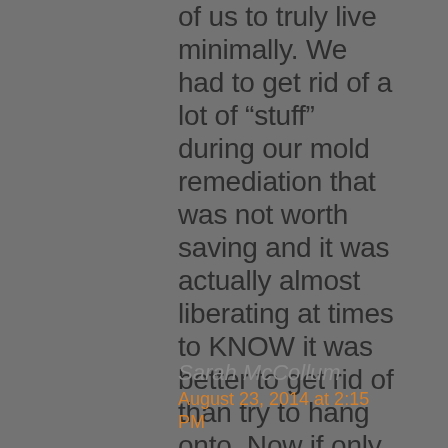of us to truly live minimally. We had to get rid of a lot of “stuff” during our mold remediation that was not worth saving and it was actually almost liberating at times to KNOW it was better to get rid of than try to hang onto. Now if only someone could clear out all our paper... working our way there. 🙂
Sarah McCollum
August 23, 2014 at 2:15 PM